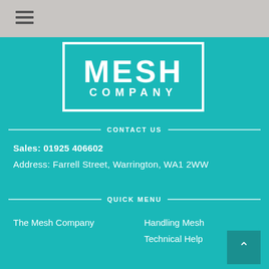[Figure (logo): Hamburger/menu icon with three horizontal lines in grey header bar]
[Figure (logo): The Mesh Company logo: white text MESH and COMPANY inside a white rectangular border on teal background]
CONTACT US
Sales: 01925 406602
Address: Farrell Street, Warrington, WA1 2WW
QUICK MENU
The Mesh Company
Handling Mesh
Technical Help